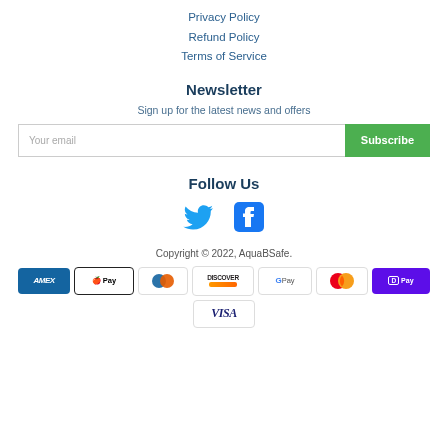Privacy Policy
Refund Policy
Terms of Service
Newsletter
Sign up for the latest news and offers
Follow Us
[Figure (other): Twitter and Facebook social media icons]
Copyright © 2022, AquaBSafe.
[Figure (other): Payment method icons: Amex, Apple Pay, Diners Club, Discover, Google Pay, Mastercard, Shop Pay, Visa]